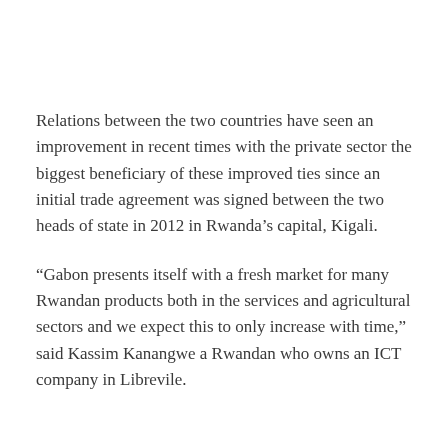Relations between the two countries have seen an improvement in recent times with the private sector the biggest beneficiary of these improved ties since an initial trade agreement was signed between the two heads of state in 2012 in Rwanda’s capital, Kigali.
“Gabon presents itself with a fresh market for many Rwandan products both in the services and agricultural sectors and we expect this to only increase with time,” said Kassim Kanangwe a Rwandan who owns an ICT company in Librevile.